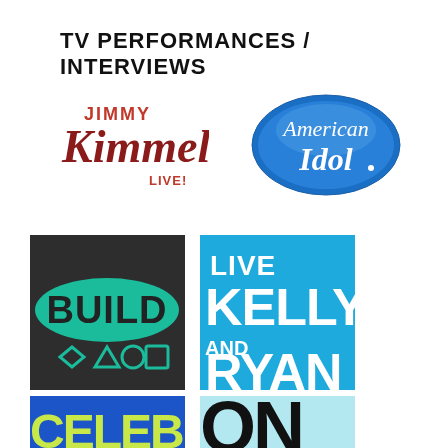TV PERFORMANCES / INTERVIEWS
[Figure (logo): Jimmy Kimmel Live! logo in red script and dark red block letters]
[Figure (logo): American Idol logo in blue oval with white script text]
[Figure (logo): BUILD Series logo on dark background with teal/green banner and geometric symbols]
[Figure (logo): Live with Kelly and Ryan logo on bright blue background with white bold text]
[Figure (logo): Celebrity partial logo on blue background with yellow/green letters]
[Figure (logo): CNN partial logo on light blue background]